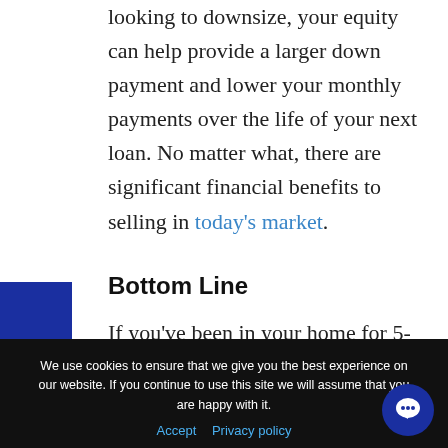looking to downsize, your equity can help provide a larger down payment and lower your monthly payments over the life of your next loan. No matter what, there are significant financial benefits to selling in today's market.
Bottom Line
If you've been in your home for 5-10 years or more, now might be the time to explore your options. Today's low rates and your built-up equity could provide you with the opportunity
TEXT US
We use cookies to ensure that we give you the best experience on our website. If you continue to use this site we will assume that you are happy with it.